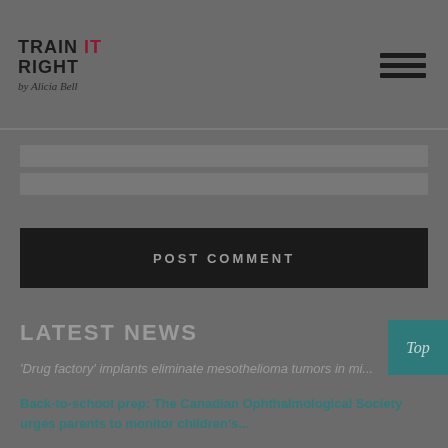Train IT Right by Alicia Bell
[Figure (logo): Train IT Right logo with hamburger menu icon]
POST COMMENT
LATEST NEWS
'Drug factory' implants eliminate mesothelioma tumors in mi...
Back-to-school prep: The Canadian Ophthalmological Society urges parents to monitor children's...